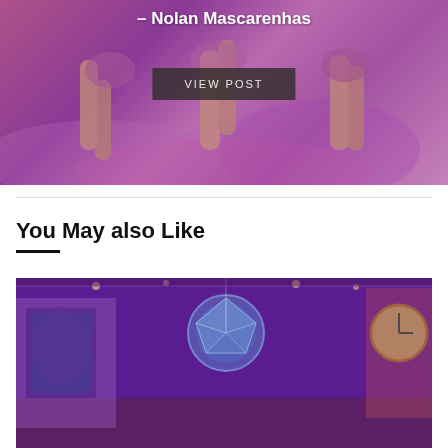[Figure (photo): Photo of dancers on a purple/pink lit stage floor, partially visible legs of performers. Overlaid with text '– Nolan Mascarenhas' and a 'VIEW POST' button.]
– Nolan Mascarenhas
VIEW POST
You May also Like
[Figure (photo): Indoor shopping arcade or cruise ship promenade with pink/purple lighting, decorative blue crystalline ball ornament hanging from ceiling, a clock visible on the right side.]